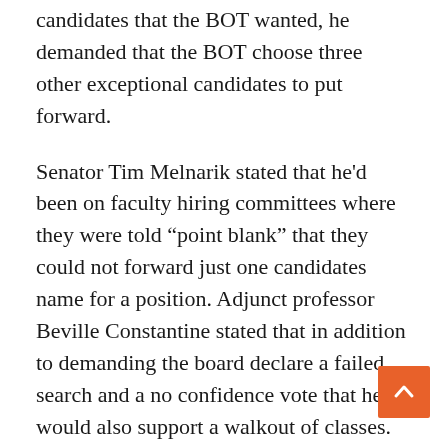candidates that the BOT wanted, he demanded that the BOT choose three other exceptional candidates to put forward.
Senator Tim Melnarik stated that he'd been on faculty hiring committees where they were told “point blank” that they could not forward just one candidates name for a position. Adjunct professor Beville Constantine stated that in addition to demanding the board declare a failed search and a no confidence vote that he would also support a walkout of classes.
When asked about the time frame for actions taken by the board, Foster stated that a letter to the board was the best action because May 7 is when candidate Davis is scheduled to come onto campus for open forums.